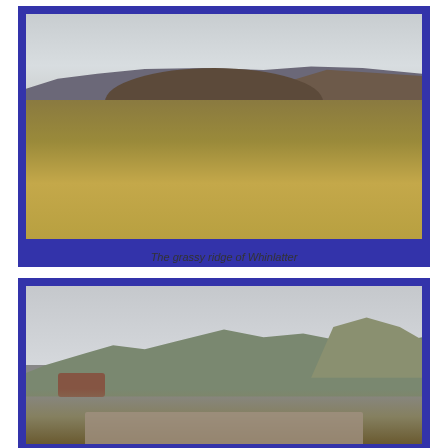[Figure (photo): Landscape photo of the grassy ridge of Whinlatter, showing brown/golden moorland grasses in the foreground, a rounded dark hill summit in the middle distance, and overcast sky]
The grassy ridge of Whinlatter
[Figure (photo): Landscape photo showing a mountain range panorama with green hills and a prominent peak on the right, a stone wall or cairn in the foreground, overcast sky]